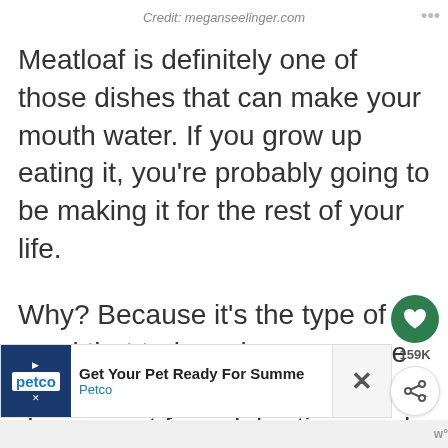Credit: meganseelinger.com
Meatloaf is definitely one of those dishes that can make your mouth water. If you grow up eating it, you’re probably going to be making it for the rest of your life.
Why? Because it’s the type of meal that truly makes everyone feel at home. It’s great for regular days, great for celebrations and any other occasions.
[Figure (screenshot): Floating action buttons: heart/like button (green circle) with 159K count, and a share button below]
[Figure (screenshot): Petco advertisement banner: Get Your Pet Ready For Summe / Petco with diamond arrow graphic and close X button]